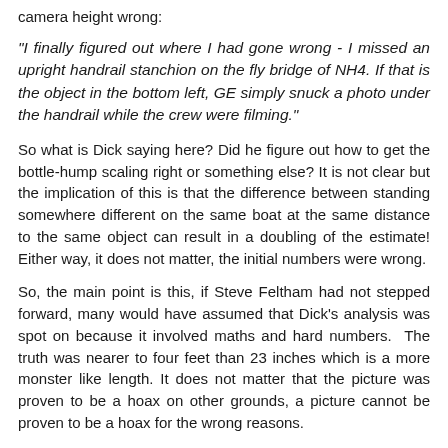camera height wrong:
"I finally figured out where I had gone wrong - I missed an upright handrail stanchion on the fly bridge of NH4. If that is the object in the bottom left, GE simply snuck a photo under the handrail while the crew were filming."
So what is Dick saying here? Did he figure out how to get the bottle-hump scaling right or something else? It is not clear but the implication of this is that the difference between standing somewhere different on the same boat at the same distance to the same object can result in a doubling of the estimate! Either way, it does not matter, the initial numbers were wrong.
So, the main point is this, if Steve Feltham had not stepped forward, many would have assumed that Dick's analysis was spot on because it involved maths and hard numbers.  The truth was nearer to four feet than 23 inches which is a more monster like length. It does not matter that the picture was proven to be a hoax on other grounds, a picture cannot be proven to be a hoax for the wrong reasons.